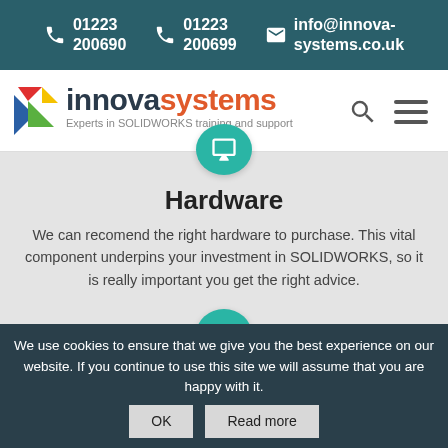01223 200690  01223 200699  info@innova-systems.co.uk
[Figure (logo): Innova Systems logo with arrow triangle icon, text 'innovasystems' and tagline 'Experts in SOLIDWORKS training and support']
[Figure (other): Teal circle with monitor/desktop icon]
Hardware
We can recomend the right hardware to purchase. This vital component underpins your investment in SOLIDWORKS, so it is really important you get the right advice.
[Figure (other): Teal circle with group/people icon]
We use cookies to ensure that we give you the best experience on our website. If you continue to use this site we will assume that you are happy with it.